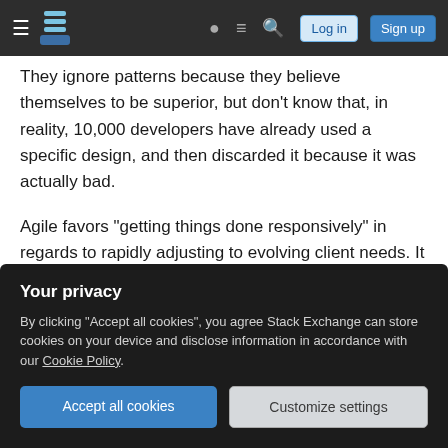Stack Exchange navigation bar with Log in and Sign up buttons
They ignore patterns because they believe themselves to be superior, but don't know that, in reality, 10,000 developers have already used a specific design, and then discarded it because it was actually bad.
Agile favors "getting things done responsively" in regards to rapidly adjusting to evolving client needs. It neither favors design patterns nor despises them. If a pattern is the fastest, most reliable method, then the developer should use it. If a particular pattern would cost more time than simply "getting it done,"
Your privacy
By clicking "Accept all cookies", you agree Stack Exchange can store cookies on your device and disclose information in accordance with our Cookie Policy.
Accept all cookies
Customize settings
already right.